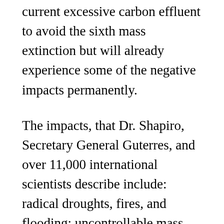current excessive carbon effluent to avoid the sixth mass extinction but will already experience some of the negative impacts permanently.
The impacts, that Dr. Shapiro, Secretary General Guterres, and over 11,000 international scientists describe include: radical droughts, fires, and flooding; uncontrollable mass migrations as sections of the world become unlivable and ungovernable; and the influx of unremedied new viruses and biological infections that lead to the eventual bankruptcy and breakdown of civil society.  Dr. Shapiro reminds that those terminal societal maladies are already